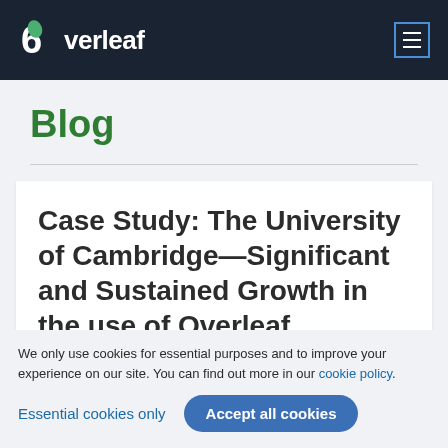Overleaf
Blog
Case Study: The University of Cambridge—Significant and Sustained Growth in the use of Overleaf
We only use cookies for essential purposes and to improve your experience on our site. You can find out more in our cookie policy.
Essential cookies only | Accept all cookies